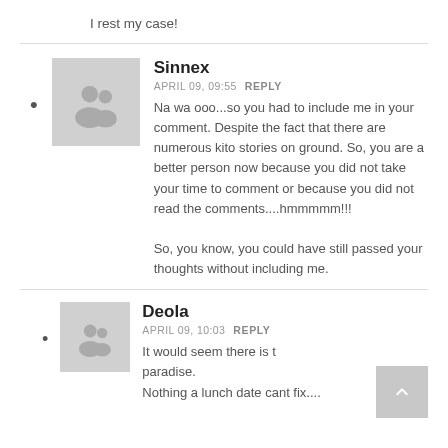I rest my case!
Sinnex
APRIL 09, 09:55  REPLY
Na wa ooo...so you had to include me in your comment. Despite the fact that there are numerous kito stories on ground. So, you are a better person now because you did not take your time to comment or because you did not read the comments....hmmmmm!!!

So, you know, you could have still passed your thoughts without including me.
Deola
APRIL 09, 10:03  REPLY
It would seem there is t... paradise.
Nothing a lunch date cant fix....